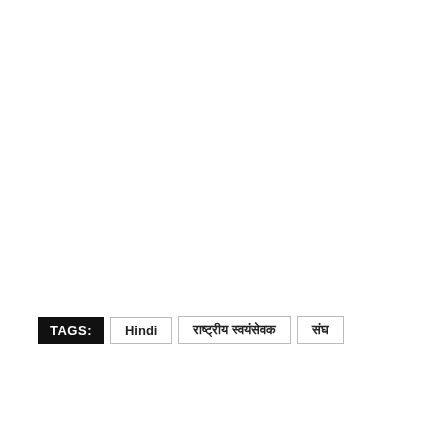TAGS: Hindi राष्ट्रीय स्वयंसेवक संघ